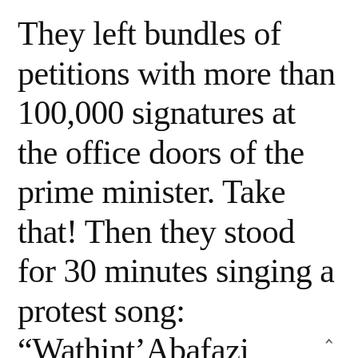They left bundles of petitions with more than 100,000 signatures at the office doors of the prime minister. Take that! Then they stood for 30 minutes singing a protest song: “Wathint’Abafazi Wathint’imbokodo!” Now